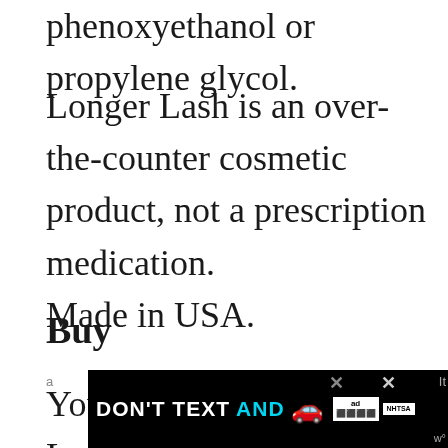phenoxyethanol or propylene glycol.
Longer Lash is an over-the-counter cosmetic product, not a prescription medication.
Made in USA.
Buy
You can purchase Longer Lash online a
[Figure (other): Advertisement banner: DON'T TEXT AND [car emoji] with ad and NHTSA logos]